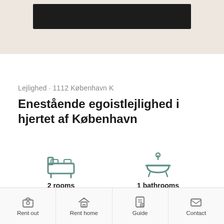[Figure (photo): Top banner area with dark image bar on beige/pink background]
Lejlighed · 1112 København K
Enestående egoistlejlighed i hjertet af København
[Figure (infographic): 2 rooms icon (bed) and 1 bathrooms icon (bathtub) with labels]
Rent out | Rent home | Guide | Contact